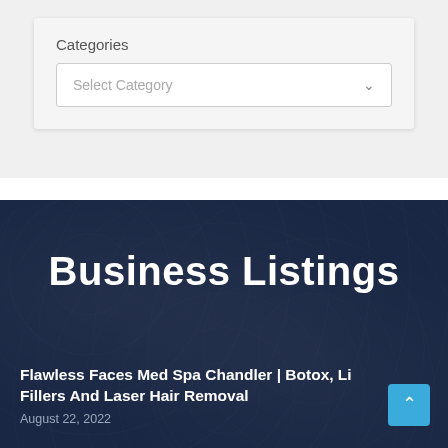Categories
Select Category
Business Listings
Flawless Faces Med Spa Chandler | Botox, Li Fillers And Laser Hair Removal
August 22, 2022